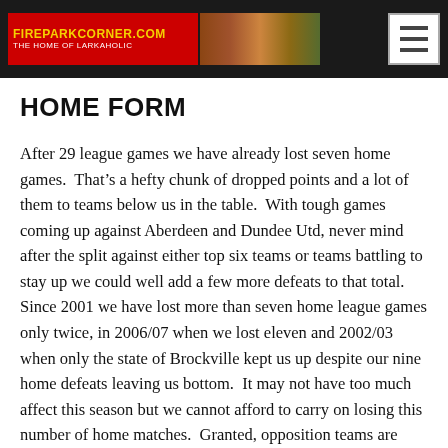FIREPARKCORNER.COM THE HOME OF LARKAHOLIC
HOME FORM
After 29 league games we have already lost seven home games.  That’s a hefty chunk of dropped points and a lot of them to teams below us in the table.  With tough games coming up against Aberdeen and Dundee Utd, never mind after the split against either top six teams or teams battling to stay up we could well add a few more defeats to that total.  Since 2001 we have lost more than seven home league games only twice, in 2006/07 when we lost eleven and 2002/03 when only the state of Brockville kept us up despite our nine home defeats leaving us bottom.  It may not have too much affect this season but we cannot afford to carry on losing this number of home matches.  Granted, opposition teams are often set up to nick a goal and